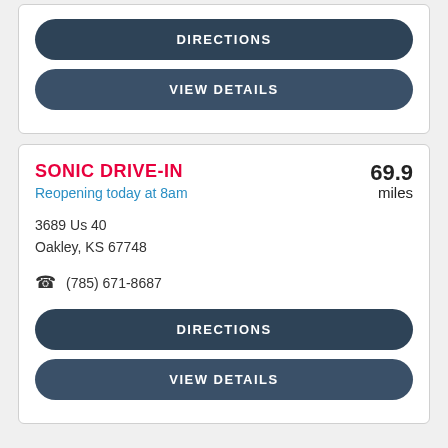[Figure (screenshot): Top card with DIRECTIONS and VIEW DETAILS buttons]
SONIC DRIVE-IN
Reopening today at 8am
69.9 miles
3689 Us 40
Oakley, KS 67748
(785) 671-8687
DIRECTIONS
VIEW DETAILS